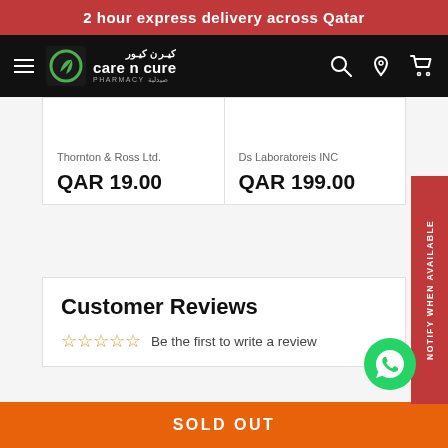2 hour express delivery across Qatar
[Figure (logo): Care n Cure Pharmacy logo with green leaf icon and Arabic text كير ن كيور]
Thornton & Ross Ltd.
QAR 19.00
Ds Laboratoreis INC
QAR 199.00
NOTIFY WHEN AVAILABLE
Customer Reviews
Be the first to write a review
SOLD OUT